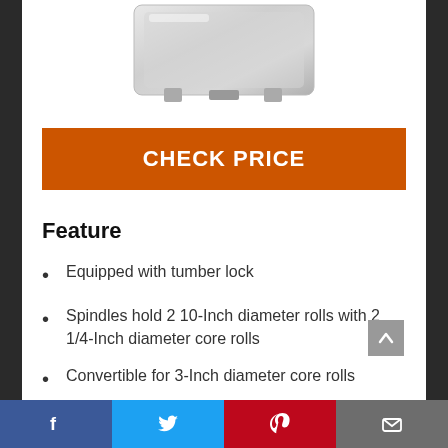[Figure (photo): Product image of a stainless steel paper towel holder/dispenser, partially visible at top of page]
CHECK PRICE
Feature
Equipped with tumber lock
Spindles hold 2 10-Inch diameter rolls with 2 1/4-Inch diameter core rolls
Convertible for 3-Inch diameter core rolls
Facebook | Twitter | Pinterest | Email